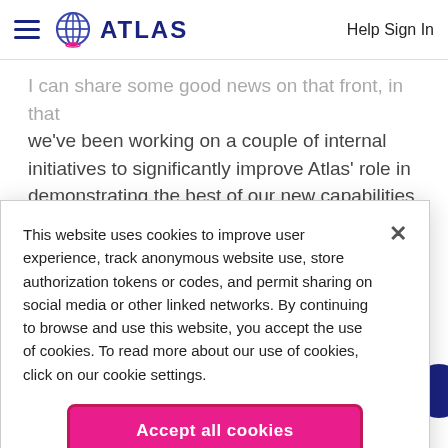ATLAS   Help Sign In
I can share some good news on that front, in that we've been working on a couple of internal initiatives to significantly improve Atlas' role in demonstrating the best of our new capabilities. My expectation is that through the course of the next 3-
This website uses cookies to improve user experience, track anonymous website use, store authorization tokens or codes, and permit sharing on social media or other linked networks. By continuing to browse and use this website, you accept the use of cookies. To read more about our use of cookies, click on our cookie settings.
Accept all cookies
Cookies settings